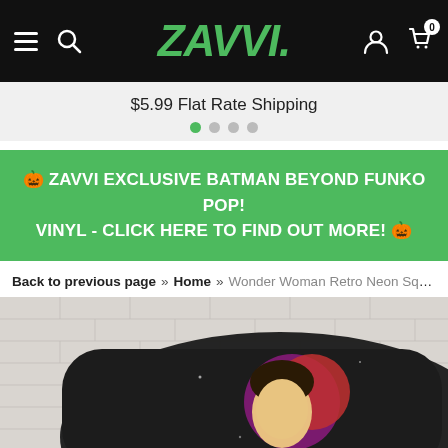Zavvi navigation bar with hamburger menu, search, logo ZAVVI., account and cart icons (0 items)
$5.99 Flat Rate Shipping
🎃 ZAVVI EXCLUSIVE BATMAN BEYOND FUNKO POP! VINYL - CLICK HERE TO FIND OUT MORE! 🎃
Back to previous page  »  Home  »  Wonder Woman Retro Neon Square Cush...
[Figure (photo): A black square cushion with Wonder Woman retro neon artwork showing the hero's golden tiara and face with a red and purple circular background, photographed against a white brick wall.]